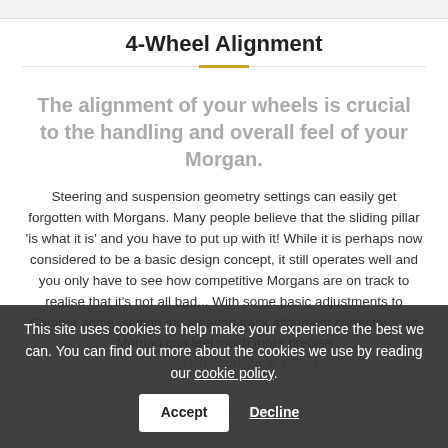4-Wheel Alignment
The alignment of your wheels is crucial to the handling and overall feel of your Morgan.
Steering and suspension geometry settings can easily get forgotten with Morgans. Many people believe that the sliding pillar 'is what it is' and you have to put up with it! While it is perhaps now considered to be a basic design concept, it still operates well and you only have to see how competitive Morgans are on track to realise that it's not all bad... With some basic adjustments to Camber angle, setting the steering track alignment correctly, your Morgan can feel much more precise especially when driven at speed.
For the Aero range we strongly recommend that you have the front and rear suspension geometry checked at least every two
This site uses cookies to help make your experience the best we can. You can find out more about the cookies we use by reading our cookie policy.